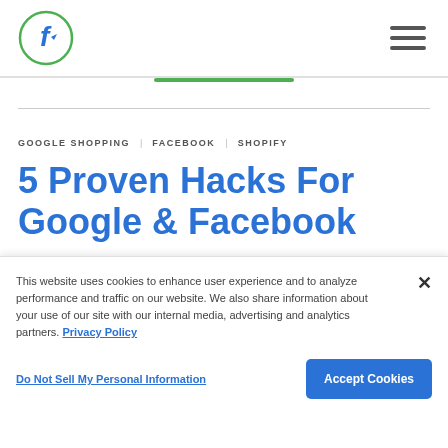Feedonomics logo and hamburger menu
GOOGLE SHOPPING   FACEBOOK   SHOPIFY
5 Proven Hacks For Google & Facebook
This website uses cookies to enhance user experience and to analyze performance and traffic on our website. We also share information about your use of our site with our internal media, advertising and analytics partners. Privacy Policy
Do Not Sell My Personal Information
Accept Cookies